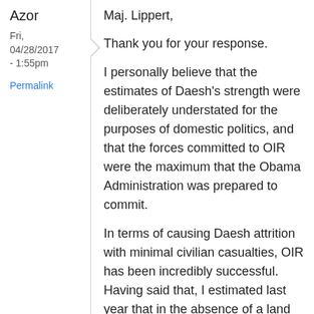Azor
Fri, 04/28/2017 - 1:55pm
Permalink
Maj. Lippert,
Thank you for your response.
I personally believe that the estimates of Daesh's strength were deliberately understated for the purposes of domestic politics, and that the forces committed to OIR were the maximum that the Obama Administration was prepared to commit.
In terms of causing Daesh attrition with minimal civilian casualties, OIR has been incredibly successful. Having said that, I estimated last year that in the absence of a land campaign, OIR would need to keep up its attrition rate for at least a decade in order to defeat Daesh. That a